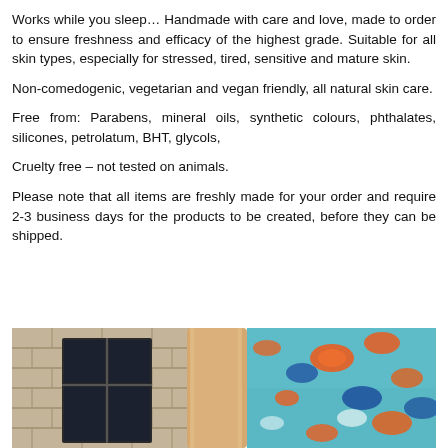Works while you sleep… Handmade with care and love, made to order to ensure freshness and efficacy of the highest grade. Suitable for all skin types, especially for stressed, tired, sensitive and mature skin.
Non-comedogenic, vegetarian and vegan friendly, all natural skin care.
Free from: Parabens, mineral oils, synthetic colours, phthalates, silicones, petrolatum, BHT, glycols,
Cruelty free – not tested on animals.
Please note that all items are freshly made for your order and require 2-3 business days for the products to be created, before they can be shipped.
[Figure (photo): Photo showing a person's arm/wrist in front of a stone wall background, wearing or holding a teal/turquoise floral patterned fabric with orange and blue floral motifs]